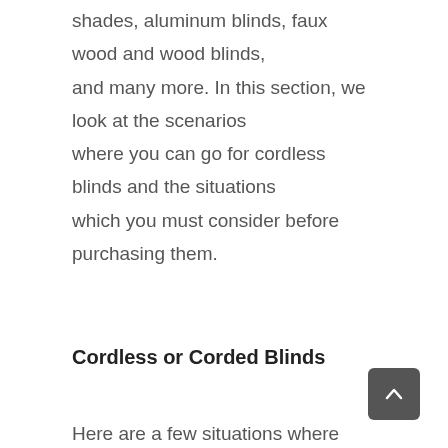shades, aluminum blinds, faux wood and wood blinds, and many more. In this section, we look at the scenarios where you can go for cordless blinds and the situations which you must consider before purchasing them.
Cordless or Corded Blinds
Here are a few situations where going for cordless becomes an absolute must.
1) When there are children or pets in the house
When there are blinds with cords that are within reach of the little guys in the house, i.e., children or pets, it